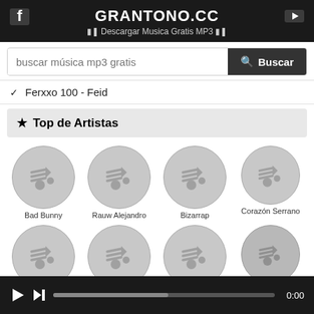GRANTONO.CC — Descargar Musica Gratis MP3
buscar música mp3 gratis
✔ Ferxxo 100 - Feid
★ Top de Artistas
[Figure (illustration): Grid of 8 artist placeholder circles with music note icons. Row 1: Bad Bunny, Rauw Alejandro, Bizarrap, Corazón Serrano. Row 2: four more unnamed artists.]
▶ ⏭ [progress bar] 0:00